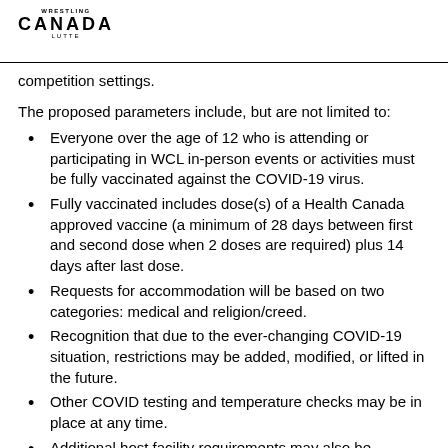WRESTLING CANADA LUTTE
competition settings.
The proposed parameters include, but are not limited to:
Everyone over the age of 12 who is attending or participating in WCL in-person events or activities must be fully vaccinated against the COVID-19 virus.
Fully vaccinated includes dose(s) of a Health Canada approved vaccine (a minimum of 28 days between first and second dose when 2 doses are required) plus 14 days after last dose.
Requests for accommodation will be based on two categories: medical and religion/creed.
Recognition that due to the ever-changing COVID-19 situation, restrictions may be added, modified, or lifted in the future.
Other COVID testing and temperature checks may be in place at any time.
Additional host facility requirements may also be